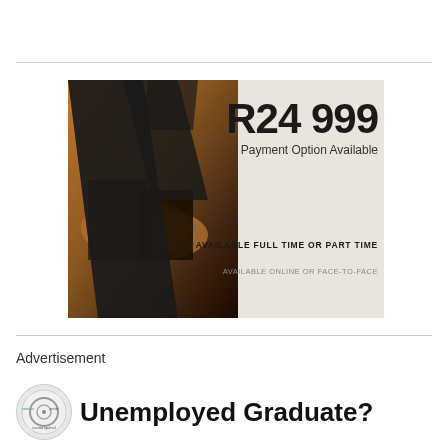[Figure (infographic): Course advertisement showing R24 999 price with payment option available, available full time or part time, available online or face-to-face. Dark geometric angular shapes overlay a handshake photo on the left side.]
Advertisement
[Figure (infographic): CareersPortal logo with text 'Unemployed Graduate?' advertisement banner]